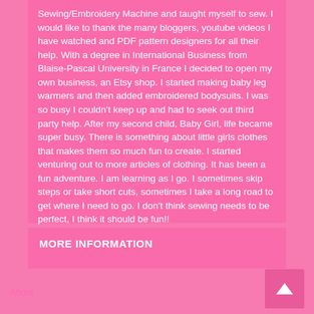Sewing/Embroidery Machine and taught myself to sew. I would like to thank the many bloggers, youtube videos I have watched and PDF pattern designers for all their help. With a degree in International Business from Blaise-Pascal University in France I decided to open my own business, an Etsy shop. I started making baby leg warmers and then added embroidered bodysuits. I was so busy I couldn't keep up and had to seek out third party help. After my second child, Baby Girl, life became super busy. There is something about little girls clothes that makes them so much fun to create. I started venturing out to more articles of clothing. It has been a fun adventure. I am learning as I go. I sometimes skip steps or take short cuts, sometimes I take a long road to get where I need to go. I don't think sewing needs to be perfect, I think it should be fun!!
MORE INFORMATION
About